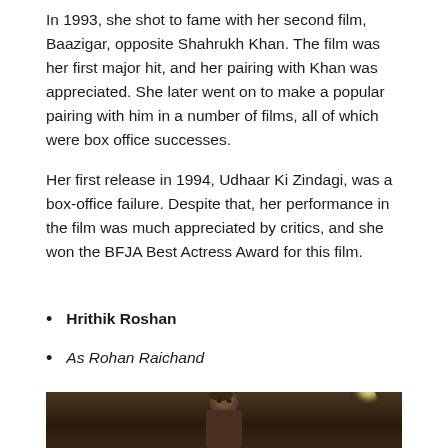In 1993, she shot to fame with her second film, Baazigar, opposite Shahrukh Khan. The film was her first major hit, and her pairing with Khan was appreciated. She later went on to make a popular pairing with him in a number of films, all of which were box office successes.
Her first release in 1994, Udhaar Ki Zindagi, was a box-office failure. Despite that, her performance in the film was much appreciated by critics, and she won the BFJA Best Actress Award for this film.
Hrithik Roshan
As Rohan Raichand
[Figure (photo): Photo of Hrithik Roshan looking upward against a dark brown background with a bright light source on the right side]